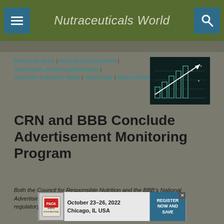Nutraceuticals World
BREAKING NEWS | DIETARY SUPPLEMENTS | FUNCTIONAL FOODS & BEVERAGES | INDUSTRY & MARKET NEWS | PACKAGING | REGULATIONS
[Figure (illustration): Dark chalkboard illustration showing a rising bar chart with growth arrows and financial symbols]
CRN and BBB Conclude Advertisement Monitoring Program
Both the Council for Responsible Nutrition and the BBB's National Advertising Division are optimistic about the industry's ongoing self-regulatory efforts.
[Figure (other): Advertisement banner: Pack Expo, October 23-26, 2022, Chicago, IL USA - Register Now and Save]